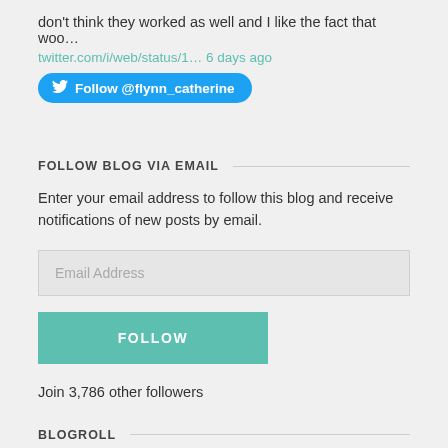don't think they worked as well and I like the fact that woo…
twitter.com/i/web/status/1… 6 days ago
[Figure (screenshot): Twitter Follow button for @flynn_catherine]
FOLLOW BLOG VIA EMAIL
Enter your email address to follow this blog and receive notifications of new posts by email.
[Figure (screenshot): Email Address input field (greyed out placeholder)]
[Figure (screenshot): FOLLOW button in teal/green color]
Join 3,786 other followers
BLOGROLL